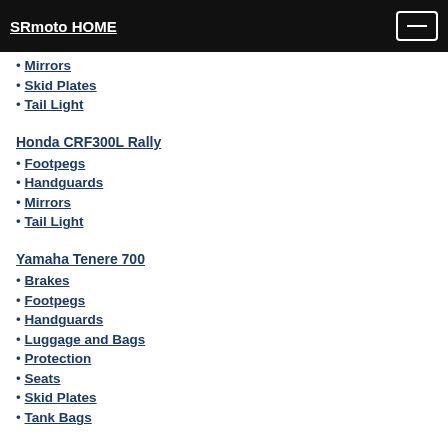SRmoto HOME
Mirrors
Skid Plates
Tail Light
Honda CRF300L Rally
Footpegs
Handguards
Mirrors
Tail Light
Yamaha Tenere 700
Brakes
Footpegs
Handguards
Luggage and Bags
Protection
Seats
Skid Plates
Tank Bags
Suzuki DRZ400S/SM